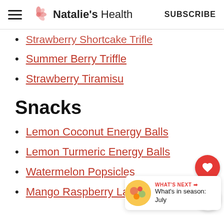Natalie's Health | SUBSCRIBE
Strawberry Shortcake Trifle
Summer Berry Triffle
Strawberry Tiramisu
Snacks
Lemon Coconut Energy Balls
Lemon Turmeric Energy Balls
Watermelon Popsicles
Mango Raspberry Lassi Ice Pops